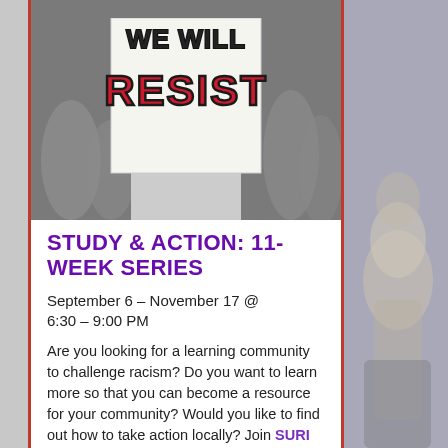[Figure (photo): Person holding a protest sign reading 'WE WILL RESIST' in bold black and red letters on white poster board, crowd visible in background]
STUDY & ACTION: 11-WEEK SERIES
September 6 – November 17 @ 6:30 – 9:00 PM
Are you looking for a learning community to challenge racism? Do you want to learn more so that you can become a resource for your community? Would you like to find out how to take action locally? Join SURI Bay Area as they examine white